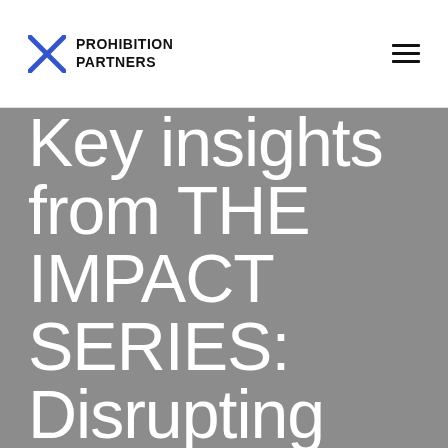PROHIBITION PARTNERS
Key insights from THE IMPACT SERIES: Disrupting